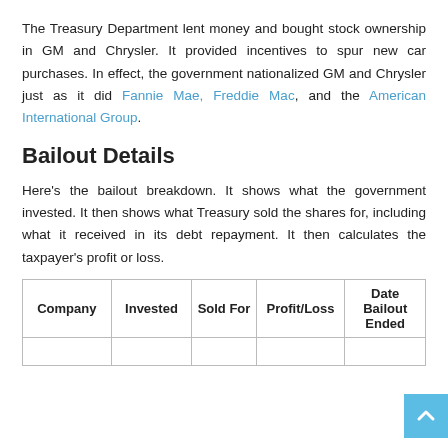The Treasury Department lent money and bought stock ownership in GM and Chrysler. It provided incentives to spur new car purchases. In effect, the government nationalized GM and Chrysler just as it did Fannie Mae, Freddie Mac, and the American International Group.
Bailout Details
Here's the bailout breakdown. It shows what the government invested. It then shows what Treasury sold the shares for, including what it received in its debt repayment. It then calculates the taxpayer's profit or loss.
| Company | Invested | Sold For | Profit/Loss | Date Bailout Ended |
| --- | --- | --- | --- | --- |